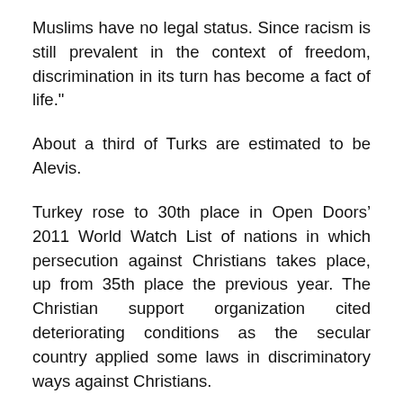Muslims have no legal status. Since racism is still prevalent in the context of freedom, discrimination in its turn has become a fact of life."
About a third of Turks are estimated to be Alevis.
Turkey rose to 30th place in Open Doors’ 2011 World Watch List of nations in which persecution against Christians takes place, up from 35th place the previous year. The Christian support organization cited deteriorating conditions as the secular country applied some laws in discriminatory ways against Christians.
TEK estimates that there are up to 3,500 Protestant Christians in Turkey.